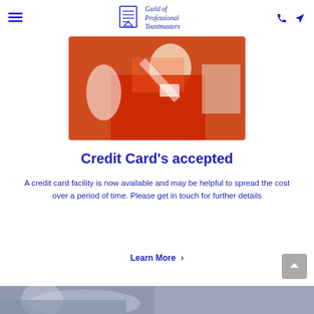Guild of Professional Toastmasters
[Figure (photo): A toastmaster in a red jacket with a blue and white sash/medal, standing in a formal interior setting]
Credit Card's accepted
A credit card facility is now available and may be helpful to spread the cost over a period of time. Please get in touch for further details
Learn More >
[Figure (photo): Partial bottom strip showing an outdoor winter scene with trees and a person]